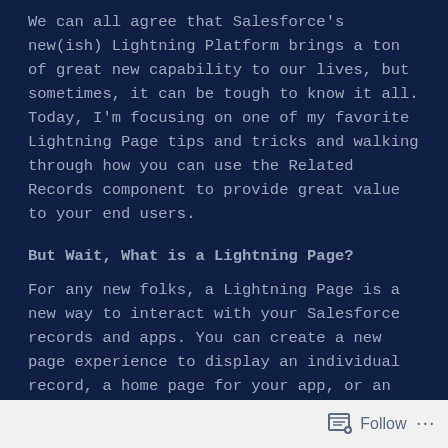We can all agree that Salesforce's new(ish) Lightning Platform brings a ton of great new capability to our lives, but sometimes, it can be tough to know it all. Today, I'm focusing on one of my favorite Lightning Page tips and tricks and walking through how you can use the Related Records component to provide great value to your end users.
But Wait, What is a Lightning Page?
For any new folks, a Lightning Page is a new way to interact with your Salesforce records and apps. You can create a new page experience to display an individual record, a home page for your app, or an app page that you can host within a custom tab to display to your users. Lightning pages can contin your standard page layouts and so much more with Lightning Web Components (LWC).
Follow